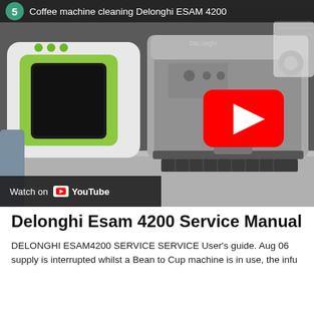[Figure (screenshot): YouTube video thumbnail showing a coffee machine cleaning video for Delonghi ESAM 4200. Step badge with number 5 and teal background in the top-left. Title reads 'Coffee machine cleaning Delonghi ESAM 4200'. The scene shows a silver Delonghi espresso machine and a green/white appliance on a countertop. A red YouTube play button overlay is centered on the image. A 'Watch on YouTube' bar appears at the bottom-left.]
Delonghi Esam 4200 Service Manual
DELONGHI ESAM4200 SERVICE SERVICE User's guide. Aug 06 supply is interrupted whilst a Bean to Cup machine is in use, the infu